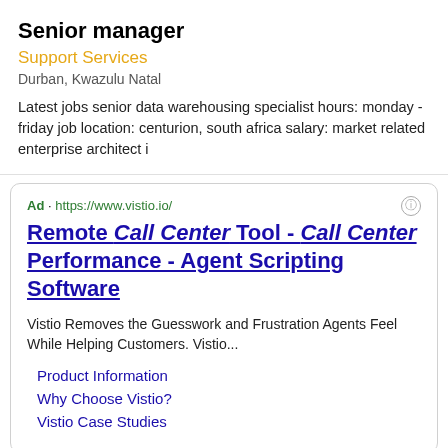Senior manager
Support Services
Durban, Kwazulu Natal
Latest jobs senior data warehousing specialist hours: monday - friday job location: centurion, south africa salary: market related enterprise architect i
Ad · https://www.vistio.io/
Remote Call Center Tool - Call Center Performance - Agent Scripting Software
Vistio Removes the Guesswork and Frustration Agents Feel While Helping Customers. Vistio...
Product Information
Why Choose Vistio?
Vistio Case Studies
Assistance coordinator (german/danish/swedish speaking)
Responsibilities: handle any inbound or outbound communication related to assistance. These communications may be with policyholder, medical and